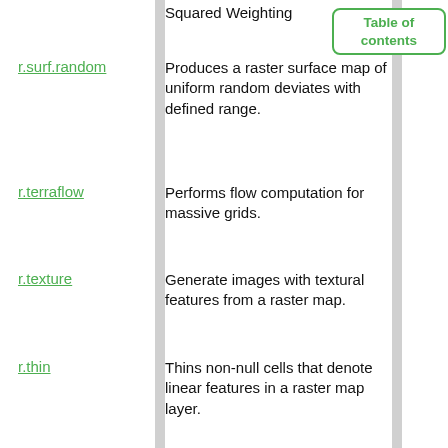Squared Weighting
[Figure (other): Table of contents navigation box]
r.surf.random — Produces a raster surface map of uniform random deviates with defined range.
r.terraflow — Performs flow computation for massive grids.
r.texture — Generate images with textural features from a raster map.
r.thin — Thins non-null cells that denote linear features in a raster map layer.
r.tile — Splits a raster map into tiles.
r.tileset — Produces tilings of the source projection for use in the